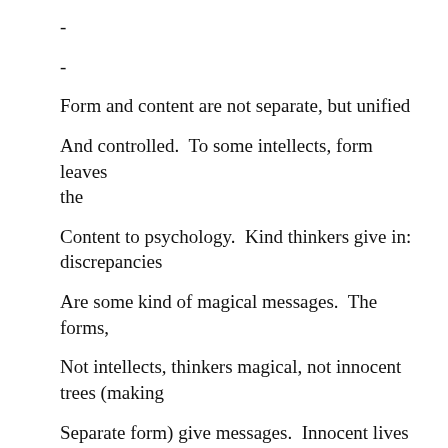-
-
Form and content are not separate, but unified
And controlled.  To some intellects, form leaves the
Content to psychology.  Kind thinkers give in: discrepancies
Are some kind of magical messages.  The forms,
Not intellects, thinkers magical, not innocent trees (making
Separate form) give messages.  Innocent lives are art
But leaves in the trees are not, truly.